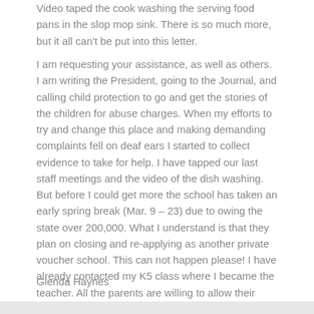Video taped the cook washing the serving food pans in the slop mop sink. There is so much more, but it all can't be put into this letter.
I am requesting your assistance, as well as others. I am writing the President, going to the Journal, and calling child protection to go and get the stories of the children for abuse charges. When my efforts to try and change this place and making demanding complaints fell on deaf ears I started to collect evidence to take for help. I have tapped our last staff meetings and the video of the dish washing. But before I could get more the school has taken an early spring break (Mar. 9 – 23) due to owing the state over 200,000. What I understand is that they plan on closing and re-applying as another private voucher school. This can not happen please! I have already contacted my K5 class where I became the teacher. All the parents are willing to allow their children to tell their stories. Please I need your help, the children need your help.
Glenda Haynes